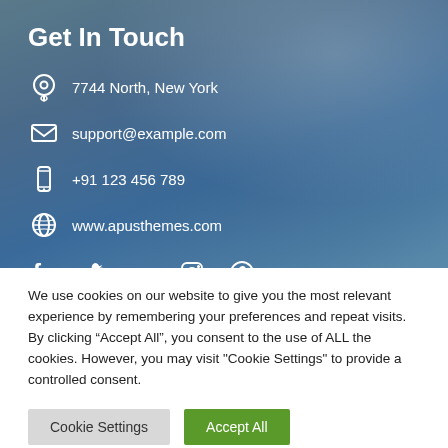Get In Touch
7744 North, New York
support@example.com
+91 123 456 789
www.apusthemes.com
[Figure (infographic): Social media icons: Facebook, Twitter, Google+, Instagram, Pinterest]
We use cookies on our website to give you the most relevant experience by remembering your preferences and repeat visits. By clicking “Accept All”, you consent to the use of ALL the cookies. However, you may visit "Cookie Settings" to provide a controlled consent.
Cookie Settings | Accept All